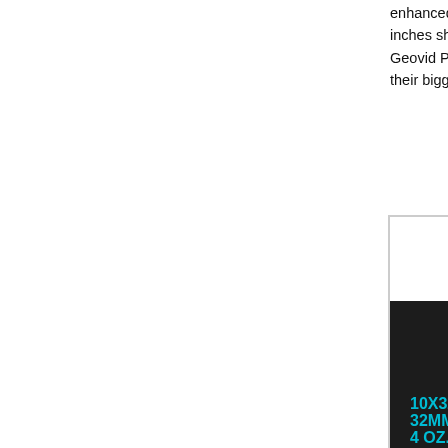enhanced software — the Leica Geovid Pro 32. Weight 3 inches shorter. With notably smaller objective lenses (32m Geovid Pro 32s should be easier to hold for extended peri their bigger brothers.
[Figure (photo): Advertisement for New Leica Geovid Pro binoculars. Large red bold title 'New Leica G' (truncated). Subtitle: 'With Applied Ballistics and Leica ProTrac'. Photo of black Leica binoculars from above on dark background. Cyan text overlay listing specs: 10X32 OR 8X32, 32MM OBJECTIVES, 4 OZ. LIGHTER, 0.8" SHORTER. White badge/pointer shape on right side.]